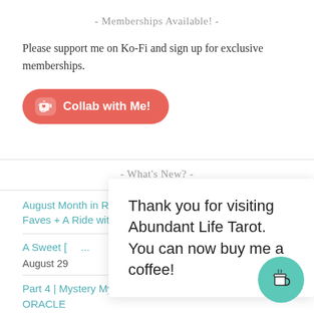- Memberships Available! -
Please support me on Ko-Fi and sign up for exclusive memberships.
[Figure (other): Ko-Fi button with cup icon and text 'Collab with Me!']
- What's New? -
August Month in Review: Tarot and Oracle Deck Faves + A Ride with
1, 2022
A Sweet [...]  [...]ns Ora[...]
August 29
[Figure (other): Popup overlay: 'Thank you for visiting Abundant Life Tarot. You can now buy me a coffee!' with teal circular coffee cup button]
Part 4 | Mystery Mystic Musings | ALLAHNIA LENOIR | ORACLE